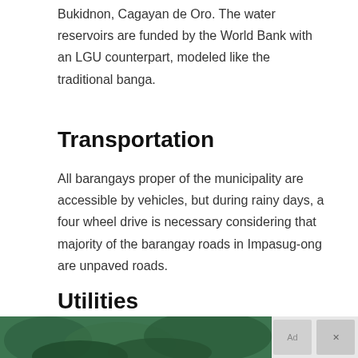Bukidnon, Cagayan de Oro. The water reservoirs are funded by the World Bank with an LGU counterpart, modeled like the traditional banga.
Transportation
All barangays proper of the municipality are accessible by vehicles, but during rainy days, a four wheel drive is necessary considering that majority of the barangay roads in Impasug-ong are unpaved roads.
Utilities
[Figure (photo): Partial photo of trees/vegetation visible at the bottom of the page with an advertisement bar overlay showing icons]